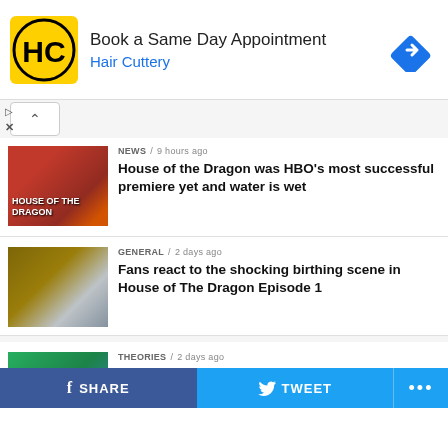[Figure (screenshot): Hair Cuttery advertisement banner with HC logo icon, 'Book a Same Day Appointment' text, 'Hair Cuttery' subtitle in blue, and a blue navigation arrow icon on the right.]
NEWS / 9 hours ago
House of the Dragon was HBO's most successful premiere yet and water is wet
GENERAL / 2 days ago
Fans react to the shocking birthing scene in House of The Dragon Episode 1
THEORIES / 2 days ago
House of The Dragon Episode 1 teases the storyline of another Game of Thrones spinoff
THEORIES / 2 days ago